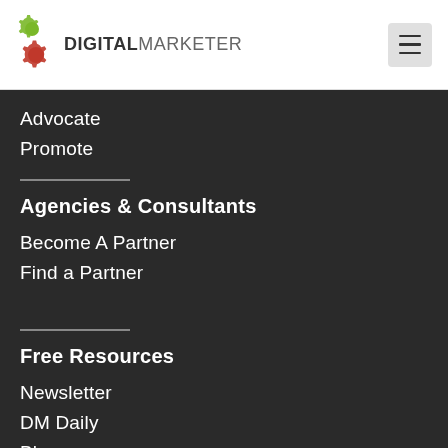DIGITAL MARKETER
Advocate
Promote
Agencies & Consultants
Become A Partner
Find a Partner
Free Resources
Newsletter
DM Daily
Blog